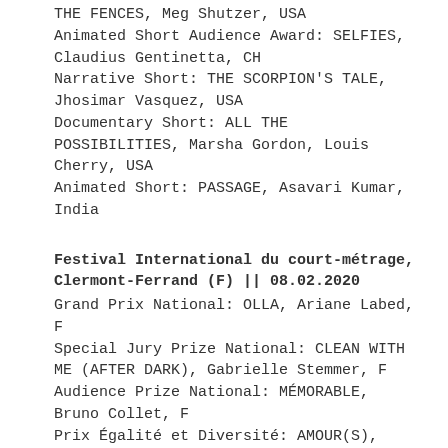THE FENCES, Meg Shutzer, USA
Animated Short Audience Award: SELFIES, Claudius Gentinetta, CH
Narrative Short: THE SCORPION'S TALE, Jhosimar Vasquez, USA
Documentary Short: ALL THE POSSIBILITIES, Marsha Gordon, Louis Cherry, USA
Animated Short: PASSAGE, Asavari Kumar, India
Festival International du court-métrage, Clermont-Ferrand (F) || 08.02.2020
Grand Prix National: OLLA, Ariane Labed, F
Special Jury Prize National: CLEAN WITH ME (AFTER DARK), Gabrielle Stemmer, F
Audience Prize National: MÉMORABLE, Bruno Collet, F
Prix Égalité et Diversité: AMOUR(S), Mathilde Chavanne, F
Prix Etudiant de la Jeunesse: OLLA, Ariane Labed, F
Prix de la meilleure oeuvre de fiction SACD: OLLA, Ariane Labed, F
Prix Canal +: RAOUT PACHA, Aurélie Reinhorn, F